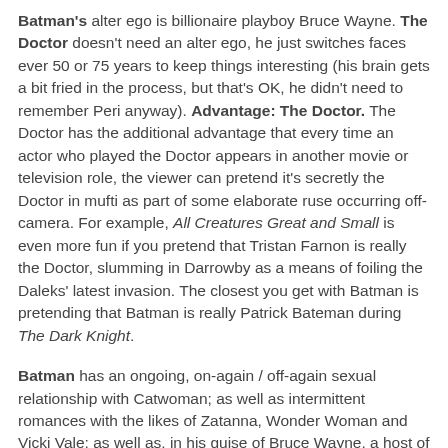Batman's alter ego is billionaire playboy Bruce Wayne. The Doctor doesn't need an alter ego, he just switches faces ever 50 or 75 years to keep things interesting (his brain gets a bit fried in the process, but that's OK, he didn't need to remember Peri anyway). Advantage: The Doctor. The Doctor has the additional advantage that every time an actor who played the Doctor appears in another movie or television role, the viewer can pretend it's secretly the Doctor in mufti as part of some elaborate ruse occurring off-camera. For example, All Creatures Great and Small is even more fun if you pretend that Tristan Farnon is really the Doctor, slumming in Darrowby as a means of foiling the Daleks' latest invasion. The closest you get with Batman is pretending that Batman is really Patrick Bateman during The Dark Knight.
Batman has an ongoing, on-again / off-again sexual relationship with Catwoman; as well as intermittent romances with the likes of Zatanna, Wonder Woman and Vicki Vale; as well as, in his guise of Bruce Wayne, a host of nameless starlets and debutantes. The Doctor . . . well, um, he's got River Moon, sort-of, perhaps, in the future. And if